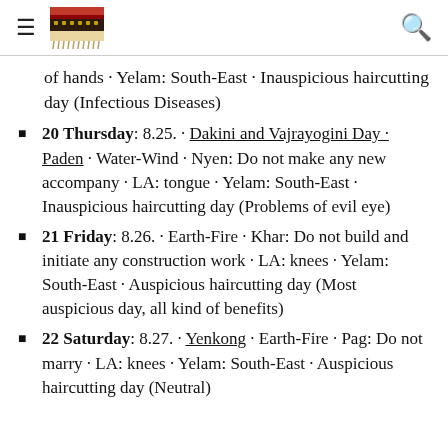≡ [logo] Q
of hands · Yelam: South-East · Inauspicious haircutting day (Infectious Diseases)
20 Thursday: 8.25. · Dakini and Vajrayogini Day · Paden · Water-Wind · Nyen: Do not make any new accompany · LA: tongue · Yelam: South-East · Inauspicious haircutting day (Problems of evil eye)
21 Friday: 8.26. · Earth-Fire · Khar: Do not build and initiate any construction work · LA: knees · Yelam: South-East · Auspicious haircutting day (Most auspicious day, all kind of benefits)
22 Saturday: 8.27. · Yenkong · Earth-Fire · Pag: Do not marry · LA: knees · Yelam: South-East · Auspicious haircutting day (Neutral)